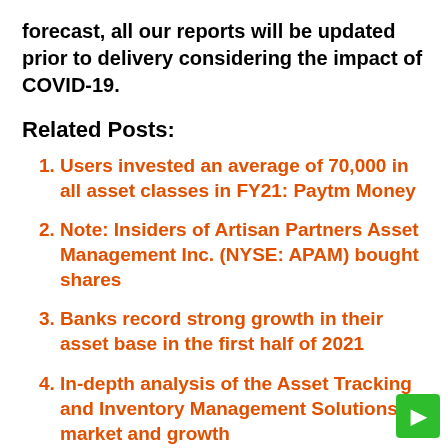forecast, all our reports will be updated prior to delivery considering the impact of COVID-19.
Related Posts:
Users invested an average of 70,000 in all asset classes in FY21: Paytm Money
Note: Insiders of Artisan Partners Asset Management Inc. (NYSE: APAM) bought shares
Banks record strong growth in their asset base in the first half of 2021
In-depth analysis of the Asset Tracking and Inventory Management Solutions market and growth